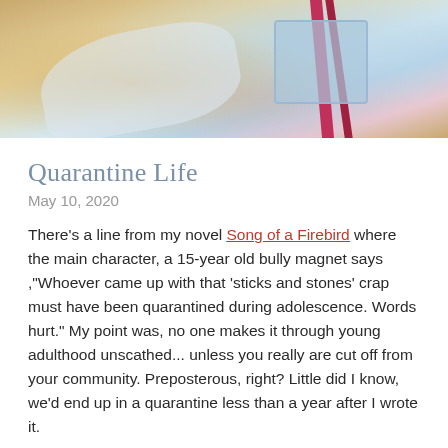[Figure (photo): Photo of a face mask and bag with pink/red ribbon straps on a surface, partially cropped at top]
Quarantine Life
May 10, 2020
There's a line from my novel Song of a Firebird where the main character, a 15-year old bully magnet says ,"Whoever came up with that 'sticks and stones' crap must have been quarantined during adolescence. Words hurt." My point was, no one makes it through young adulthood unscathed... unless you really are cut off from your community. Preposterous, right? Little did I know, we'd end up in a quarantine less than a year after I wrote it.
My kids might confess one perk of being home from